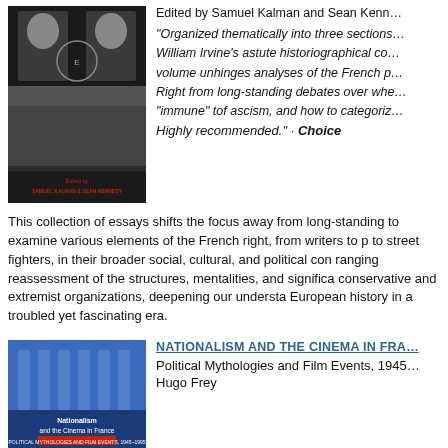[Figure (photo): Book cover showing historical black and white photo of figures with a crowd, edited by Samuel Kalman & Sean Kennedy]
Edited by Samuel Kalman and Sean Kenn...
“Organized thematically into three sections... William Irvine’s astute historiographical co... volume unhinges analyses of the French p... Right from long-standing debates over whe... ‘immune’ tof ascism, and how to categoriz... Highly recommended.” · Choice
This collection of essays shifts the focus away from long-standing to examine various elements of the French right, from writers to p to street fighters, in their broader social, cultural, and political con ranging reassessment of the structures, mentalities, and significa conservative and extremist organizations, deepening our understa European history in a troubled yet fascinating era.
[Figure (photo): Book cover for Nationalism and the Cinema in France, Political Mythologies and Film Events, by Hugo Frey]
NATIONALISM AND THE CINEMA IN FRA...
Political Mythologies and Film Events, 1945...
Hugo Frey